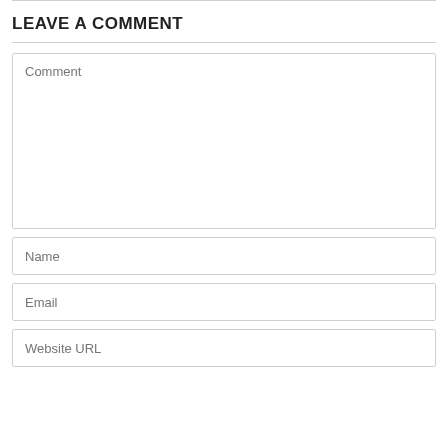LEAVE A COMMENT
Comment
Name
Email
Website URL